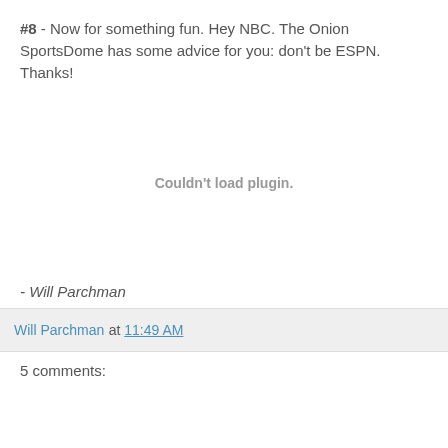#8 - Now for something fun. Hey NBC. The Onion SportsDome has some advice for you: don't be ESPN. Thanks!
[Figure (other): Embedded plugin area showing 'Couldn't load plugin.' message]
- Will Parchman
Will Parchman at 11:49 AM
5 comments: